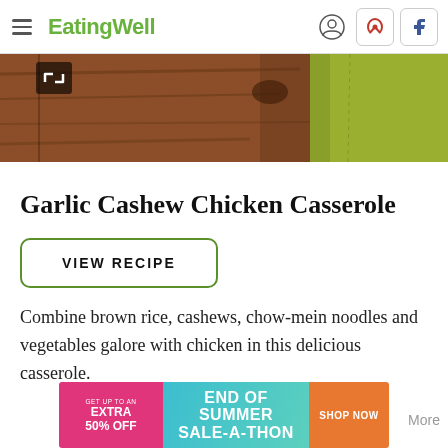EatingWell
[Figure (photo): Hero image of a casserole dish with wooden board and green cloth, with expand/fullscreen icon overlay]
Garlic Cashew Chicken Casserole
VIEW RECIPE
Combine brown rice, cashews, chow-mein noodles and vegetables galore with chicken in this delicious casserole.
[Figure (infographic): Advertisement banner: GET UP TO AN EXTRA 50% OFF | END OF SUMMER SALE-A-THON | SHOP NOW]